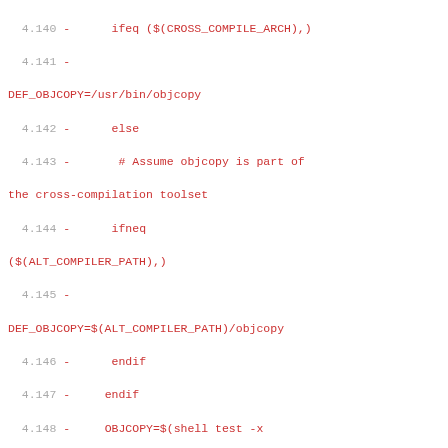4.140 -    ifeq ($(CROSS_COMPILE_ARCH),)
4.141 -
DEF_OBJCOPY=/usr/bin/objcopy
4.142 -    else
4.143 -     # Assume objcopy is part of the cross-compilation toolset
4.144 -    ifneq ($(ALT_COMPILER_PATH),)
4.145 -
DEF_OBJCOPY=$(ALT_COMPILER_PATH)/objcopy
4.146 -    endif
4.147 -   endif
4.148 -   OBJCOPY=$(shell test -x $(DEF_OBJCOPY) && echo $(DEF_OBJCOPY))
4.149 -   ifneq ($(ALT_OBJCOPY),)
4.150 -    $(eval $(call print_info,"ALT_OBJCOPY=$(ALT_OBJCOPY)"))
4.151 -   OBJCOPY=$(shell test -x $(ALT_OBJCOPY) && echo $(ALT_OBJCOPY))
4.152 -   endif
4.153 -
4.154 -   ifeq ($(OBJCOPY),)
4.155 -    $(eval $(call print_info,"no objcopy cmd found so cannot create .debuginfo files. You may need to set ALT_OBJCOPY."))
4.156 -    ENABLE_FULL_DEBUG_SYMBOLS=0
4.157 -    $(eval $(call print_info,